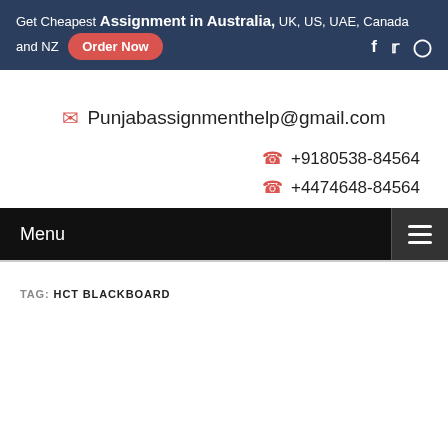Get Cheapest Assignment in Australia, UK, US, UAE, Canada and NZ  Order Now
Punjabassignmenthelp@gmail.com
+9180538-84564
+4474648-84564
Menu
TAG: HCT BLACKBOARD